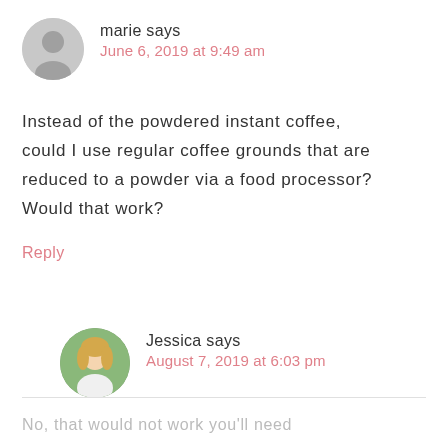marie says
June 6, 2019 at 9:49 am
Instead of the powdered instant coffee, could I use regular coffee grounds that are reduced to a powder via a food processor? Would that work?
Reply
[Figure (photo): Circular avatar photo of Jessica, a blonde woman]
Jessica says
August 7, 2019 at 6:03 pm
No, that would not work you'll need